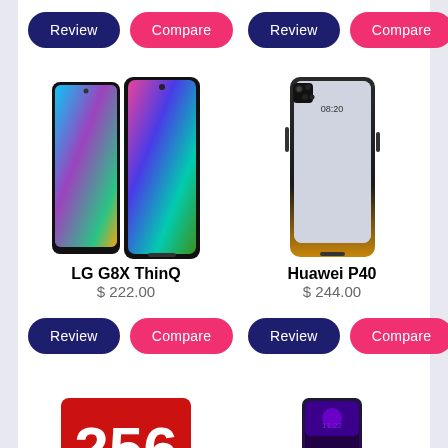[Figure (screenshot): Mobile phone product listing page showing LG G8X ThinQ and Huawei P40 with Review and Compare buttons]
Review
Compare
Review
Compare
[Figure (photo): LG G8X ThinQ smartphone dual-screen phone image]
LG G8X ThinQ
$ 222.00
[Figure (photo): Huawei P40 smartphone image]
Huawei P40
$ 244.00
Review
Compare
Review
Compare
[Figure (photo): Partial view of another phone product with red 256 label]
[Figure (photo): Partial view of another smartphone]